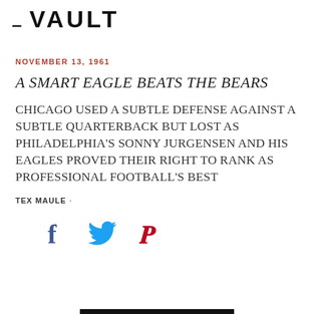≡ VAULT
NOVEMBER 13, 1961
A SMART EAGLE BEATS THE BEARS
CHICAGO USED A SUBTLE DEFENSE AGAINST A SUBTLE QUARTERBACK BUT LOST AS PHILADELPHIA'S SONNY JURGENSEN AND HIS EAGLES PROVED THEIR RIGHT TO RANK AS PROFESSIONAL FOOTBALL'S BEST
TEX MAULE ·
[Figure (other): Social share icons: Facebook (f), Twitter (bird), Pinterest (P)]